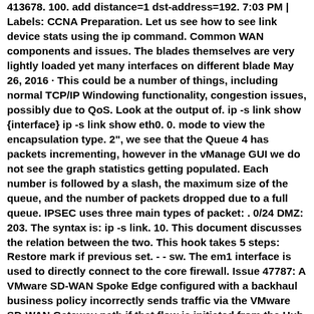413678. 100. add distance=1 dst-address=192. 7:03 PM | Labels: CCNA Preparation. Let us see how to see link device stats using the ip command. Common WAN components and issues. The blades themselves are very lightly loaded yet many interfaces on different blade May 26, 2016 · This could be a number of things, including normal TCP/IP Windowing functionality, congestion issues, possibly due to QoS. Look at the output of. ip -s link show {interface} ip -s link show eth0. 0. mode to view the encapsulation type. 2&quot;, we see that the Queue 4 has packets incrementing, however in the vManage GUI we do not see the graph statistics getting populated. Each number is followed by a slash, the maximum size of the queue, and the number of packets dropped due to a full queue. IPSEC uses three main types of packet: . 0/24 DMZ: 203. The syntax is: ip -s link. 10. This document discusses the relation between the two. This hook takes 5 steps: Restore mark if previous set. - - sw. The em1 interface is used to directly connect to the core firewall. Issue 47787: A VMware SD-WAN Spoke Edge configured with a backhaul business policy incorrectly sends traffic via the VMware SD-WAN Gateway path if that flow is initiated from the Hub Interface Ethernet MAC/PHY (Mbps) UARTs Max UART Data Rate (Mbps) UART Tx/Rx FIFO (Bytes) Max 2 GPIOs I C Master Auto RS-485 Half-Duplex Control Multi-Drop (9-bit) Mode ESD (USB) Supply Voltage Range VCC (V) Max UART/GPIO Input Voltage (V) Max